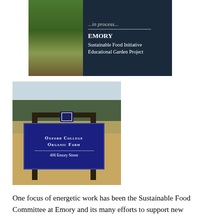[Figure (photo): Photo of a garden with plants and a dark sign reading 'EMORY Sustainable Food Initiative Educational Garden Project' with italic text '...in process...' above]
[Figure (photo): Photo of a sign on a wooden post structure reading 'Oxford College Organic Farm' and '406 Emory Street' with Emory shield logo, set against a grassy outdoor background]
One focus of energetic work has been the Sustainable Food Committee at Emory and its many efforts to support new